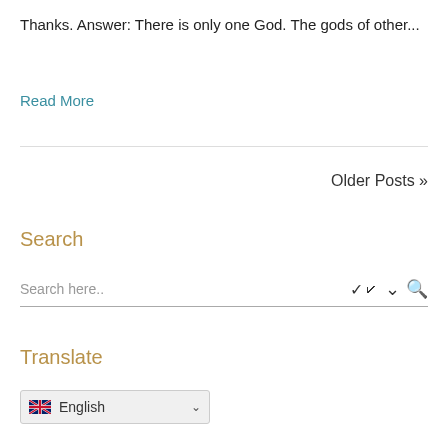Thanks. Answer: There is only one God. The gods of other...
Read More
Older Posts »
Search
Search here..
Translate
English